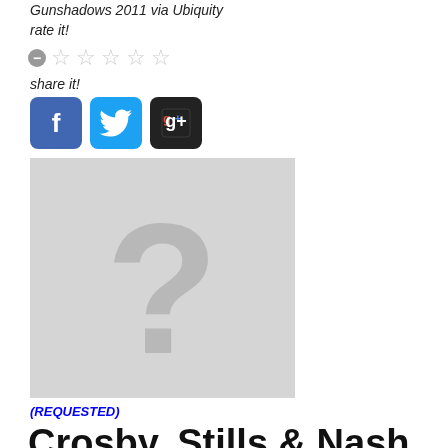Gunshadows 2011 via Ubiquity
rate it!
[Figure (other): Star rating widget with minus button and 5 empty stars]
share it!
[Figure (other): Social sharing buttons: Facebook, Twitter, Google+]
[Figure (photo): Placeholder image with grey background and large question mark]
(REQUESTED)
Crosby, Stills & Nash